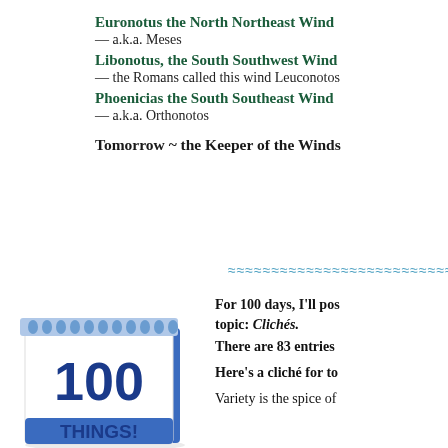Euronotus the North Northeast Wind
— a.k.a. Meses
Libonotus, the South Southwest Wind
— the Romans called this wind Leuconotos
Phoenicias the South Southeast Wind
— a.k.a. Orthonotos
Tomorrow ~ the Keeper of the Winds
[Figure (illustration): A flip-style desk calendar showing '100 THINGS!' in large blue bold text on white pages with a blue spiral binding.]
For 100 days, I'll post on one topic: Clichés. There are 83 entries
Here's a cliché for to
Variety is the spice of